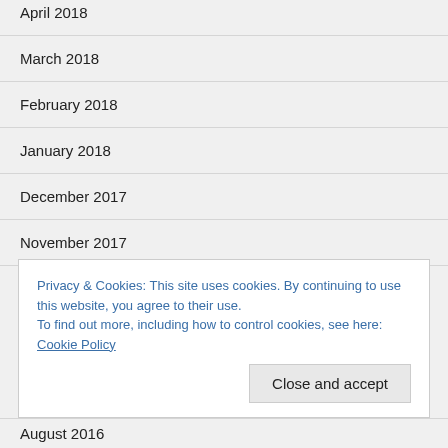April 2018
March 2018
February 2018
January 2018
December 2017
November 2017
October 2017
Privacy & Cookies: This site uses cookies. By continuing to use this website, you agree to their use.
To find out more, including how to control cookies, see here: Cookie Policy
August 2016